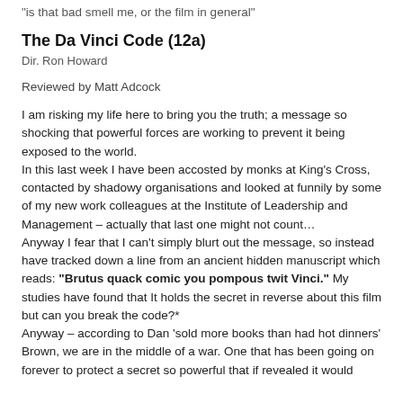"is that bad smell me, or the film in general"
The Da Vinci Code (12a)
Dir. Ron Howard
Reviewed by Matt Adcock
I am risking my life here to bring you the truth; a message so shocking that powerful forces are working to prevent it being exposed to the world.
In this last week I have been accosted by monks at King’s Cross, contacted by shadowy organisations and looked at funnily by some of my new work colleagues at the Institute of Leadership and Management – actually that last one might not count…
Anyway I fear that I can’t simply blurt out the message, so instead have tracked down a line from an ancient hidden manuscript which reads: “Brutus quack comic you pompous twit Vinci.” My studies have found that It holds the secret in reverse about this film but can you break the code?*
Anyway – according to Dan ‘sold more books than had hot dinners’ Brown, we are in the middle of a war. One that has been going on forever to protect a secret so powerful that if revealed it would